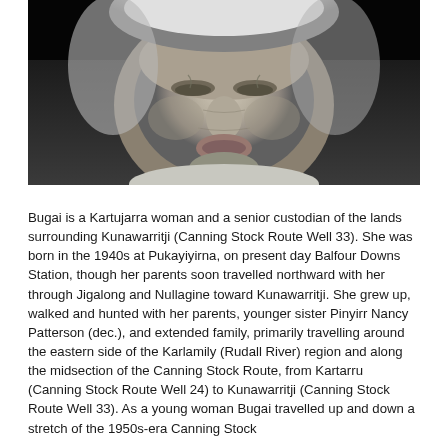[Figure (photo): Black and white close-up portrait photograph of an elderly Aboriginal woman, showing her face and upper chest area. She has white/grey hair and is looking slightly upward.]
Bugai is a Kartujarra woman and a senior custodian of the lands surrounding Kunawarritji (Canning Stock Route Well 33). She was born in the 1940s at Pukayiyirna, on present day Balfour Downs Station, though her parents soon travelled northward with her through Jigalong and Nullagine toward Kunawarritji. She grew up, walked and hunted with her parents, younger sister Pinyirr Nancy Patterson (dec.), and extended family, primarily travelling around the eastern side of the Karlamily (Rudall River) region and along the midsection of the Canning Stock Route, from Kartarru (Canning Stock Route Well 24) to Kunawarritji (Canning Stock Route Well 33). As a young woman Bugai travelled up and down a stretch of the 1950s-era Canning Stock...